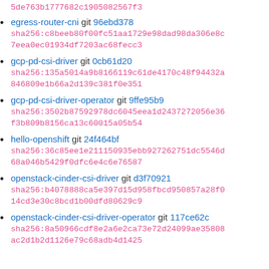5de763b1777682c1905082567f3 (partial sha, top of page)
egress-router-cni git 96ebd378
sha256:c8beeb80f00fc51aa1729e98dad98da306e8c7eea0ec01934df7203ac68fecc3
gcp-pd-csi-driver git 0cb61d20
sha256:135a5014a9b8166119c61de4170c48f94432a846809e1b66a2d139c381f0e351
gcp-pd-csi-driver-operator git 9ffe95b9
sha256:3502b87592978dc6045eea1d2437272056e36f3b809b8156ca13c60015a05b54
hello-openshift git 24f464bf
sha256:36c85ee1e211150935ebb927262751dc5546d68a046b5429f0dfc6e4c6e76587
openstack-cinder-csi-driver git d3f70921
sha256:b4078888ca5e397d15d958fbcd950857a28f014cd3e30c8bcd1b00dfd80629c9
openstack-cinder-csi-driver-operator git 117ce62c
sha256:8a50966cdf8e2a6e2ca73e72d24099ae35808ac2d1b2d1126e79c68adb4d1425